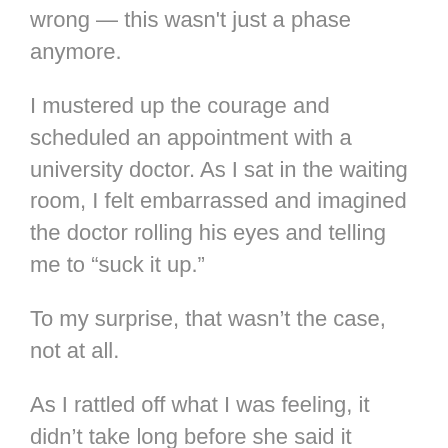wrong — this wasn't just a phase anymore.
I mustered up the courage and scheduled an appointment with a university doctor. As I sat in the waiting room, I felt embarrassed and imagined the doctor rolling his eyes and telling me to “suck it up.”
To my surprise, that wasn’t the case, not at all.
As I rattled off what I was feeling, it didn’t take long before she said it sounded like I was suffering from clinical depression.